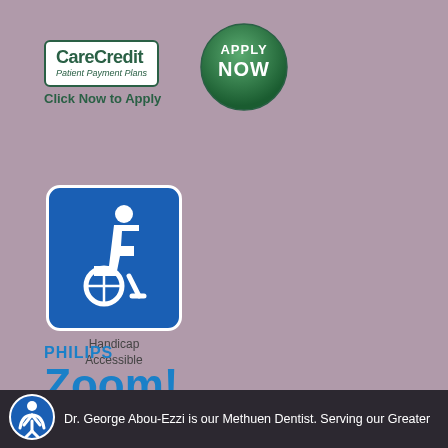[Figure (logo): CareCredit Patient Payment Plans logo with green circle Apply Now button and 'Click Now to Apply' text]
[Figure (logo): Blue handicap accessibility symbol sign with 'Handicap Accessible' label below]
[Figure (logo): Philips Zoom! branding logo in blue]
[Figure (logo): Accessibility icon (person in circle) in footer bar]
Dr. George Abou-Ezzi is our Methuen Dentist. Serving our Greater